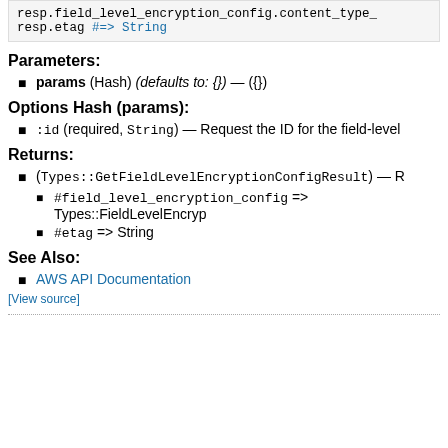[Figure (screenshot): Code block showing resp.field_level_encryption_config.content_type_ and resp.etag #=> String]
Parameters:
params (Hash) (defaults to: {}) — ({})
Options Hash (params):
:id (required, String) — Request the ID for the field-level
Returns:
(Types::GetFieldLevelEncryptionConfigResult) — R
#field_level_encryption_config => Types::FieldLevelEncryp
#etag => String
See Also:
AWS API Documentation
[View source]